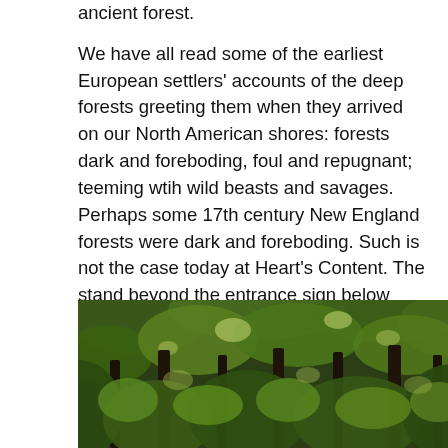ancient forest.

We have all read some of the earliest European settlers' accounts of the deep forests greeting them when they arrived on our North American shores: forests dark and foreboding, foul and repugnant; teeming wtih wild beasts and savages. Perhaps some 17th century New England forests were dark and foreboding. Such is not the case today at Heart's Content. The stand beyond the entrance sign below looks rather dark, yet, dappled sulight is penetrating the forest. The trail (below right) wends through patches of sunlight and deep shade.
[Figure (photo): A dense forest scene with green foliage and trees, dappled light penetrating through the canopy.]